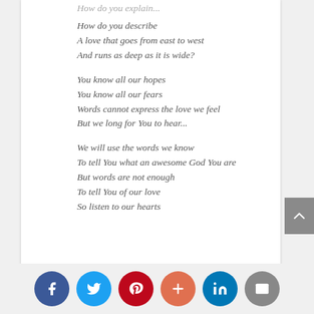How do you describe
A love that goes from east to west
And runs as deep as it is wide?

You know all our hopes
You know all our fears
Words cannot express the love we feel
But we long for You to hear...

We will use the words we know
To tell You what an awesome God You are
But words are not enough
To tell You of our love
So listen to our hearts
Does Jeremy say, “I love you”?  Yes.  Does he need